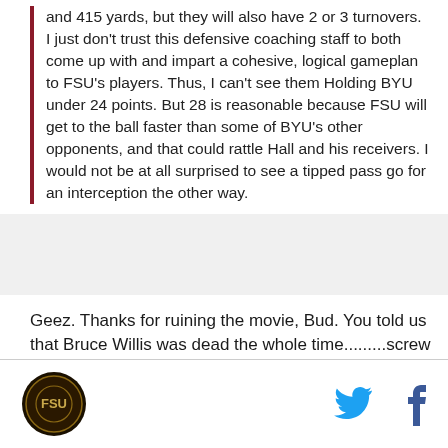and 415 yards, but they will also have 2 or 3 turnovers.  I just don't trust this defensive coaching staff to both come up with and impart a cohesive, logical gameplan to FSU's players.  Thus, I can't see them Holding BYU under 24 points.  But 28 is reasonable because FSU will get to the ball faster than some of BYU's other opponents, and that could rattle Hall and his receivers.  I would not be at all surprised to see a tipped pass go for an interception the other way.
Geez. Thanks for ruining the movie, Bud. You told us that Bruce Willis was dead the whole time.........screw you, man!
[Figure (logo): Circular dark logo emblem in bottom left corner]